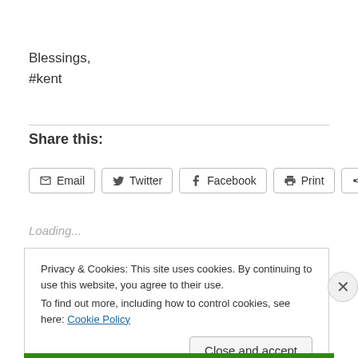Blessings,
#kent
Share this:
Email  Twitter  Facebook  Print  More
Loading...
Privacy & Cookies: This site uses cookies. By continuing to use this website, you agree to their use.
To find out more, including how to control cookies, see here: Cookie Policy
Close and accept